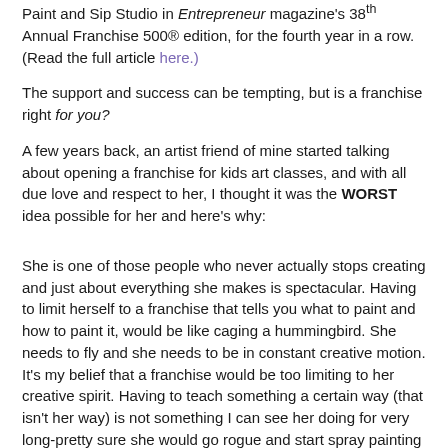Paint and Sip Studio in Entrepreneur magazine's 38th Annual Franchise 500® edition, for the fourth year in a row. (Read the full article here.)
The support and success can be tempting, but is a franchise right for you?
A few years back, an artist friend of mine started talking about opening a franchise for kids art classes, and with all due love and respect to her, I thought it was the WORST idea possible for her and here's why:
She is one of those people who never actually stops creating and just about everything she makes is spectacular. Having to limit herself to a franchise that tells you what to paint and how to paint it, would be like caging a hummingbird. She needs to fly and she needs to be in constant creative motion. It's my belief that a franchise would be too limiting to her creative spirit. Having to teach something a certain way (that isn't her way) is not something I can see her doing for very long-pretty sure she would go rogue and start spray painting